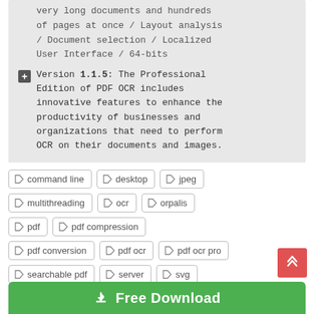very long documents and hundreds of pages at once / Layout analysis / Document selection / Localized User Interface / 64-bits
Version 1.1.5: The Professional Edition of PDF OCR includes innovative features to enhance the productivity of businesses and organizations that need to perform OCR on their documents and images.
command line
desktop
jpeg
multithreading
ocr
orpalis
pdf
pdf compression
pdf conversion
pdf ocr
pdf ocr pro
searchable pdf
server
svg
tiff
txt
Free Download